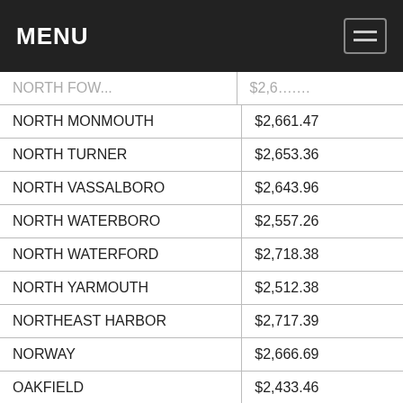MENU
| Location | Value |
| --- | --- |
| NORTH MONMOUTH | $2,661.47 |
| NORTH TURNER | $2,653.36 |
| NORTH VASSALBORO | $2,643.96 |
| NORTH WATERBORO | $2,557.26 |
| NORTH WATERFORD | $2,718.38 |
| NORTH YARMOUTH | $2,512.38 |
| NORTHEAST HARBOR | $2,717.39 |
| NORWAY | $2,666.69 |
| OAKFIELD | $2,433.46 |
| OAKLAND | $2,660.37 |
| OCEAN PARK | $2,563.15 |
This website uses cookies and other data for providing, improving our services. Get more. Got it